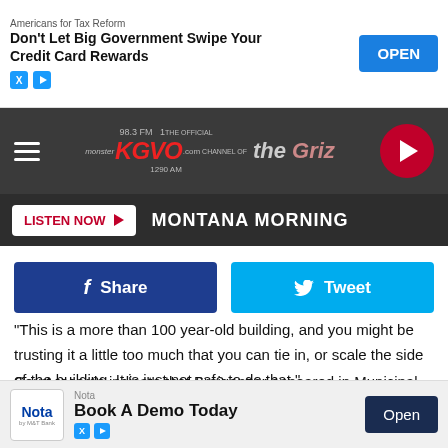[Figure (screenshot): Top advertisement banner for Americans for Tax Reform: 'Don't Let Big Government Swipe Your Credit Card Rewards' with OPEN button]
[Figure (logo): KGVO radio station navigation bar with hamburger menu, KGVO logo, The Griz logo, and red play circle button]
[Figure (screenshot): Listen Now button bar with MONTANA MORNING station name]
[Figure (screenshot): Facebook Share and Twitter Tweet social media buttons]
"This is a more than 100 year-old building, and you might be trusting it a little too much that you can tie in, or scale the side of the building. It is just not safe to do that."
Court records indicate that Breigenzer appeared in Municipal Court on misdemeanor charges of criminal trespass and obstructing a peace officer.
[Figure (screenshot): Bottom advertisement for Nota: 'Book A Demo Today' with Open button]